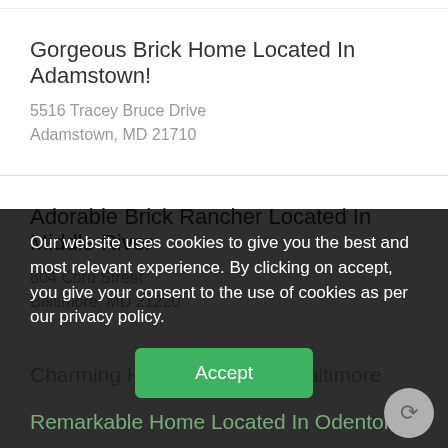Gorgeous Brick Home Located In Adamstown!
5516 Tracey Bruce Drive
Adamstown, MD 21710
Adorable Brick Rancher Located In Middle River
804 Cord Street
Baltimore, MD 21220
Charming Home Located In Baltimore
Our website uses cookies to give you the best and most relevant experience. By clicking on accept, you give your consent to the use of cookies as per our privacy policy.
Accept
Remarkable Home Located In Odenton